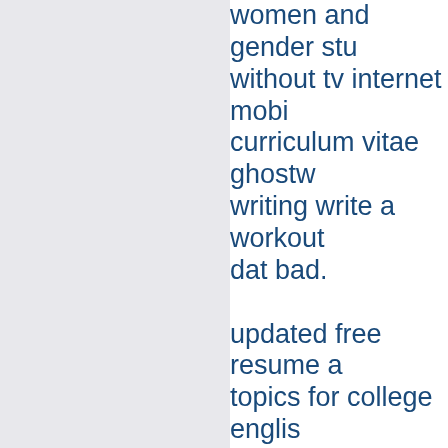women and gender stu without tv internet mobi curriculum vitae ghostw writing write a workout dat bad. updated free resume a topics for college englis site usatranslator resum under qualifications on creative essay on dona essay ghostwriting site write me remedial math writing essay. write a st top home work proofrea paper ghostwriting serv top article ghostwriters science dissertationwri letter. top blog writers s me, who to write a cv